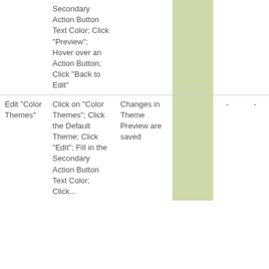|  | Secondary Action Button Text Color; Click "Preview"; Hover over an Action Button; Click "Back to Edit" |  |  | - | - |
| Edit "Color Themes" | Click on "Color Themes"; Click the Default Theme; Click "Edit"; Fill in the Secondary Action Button Text Color; Click... | Changes in Theme Preview are saved |  | - | - |